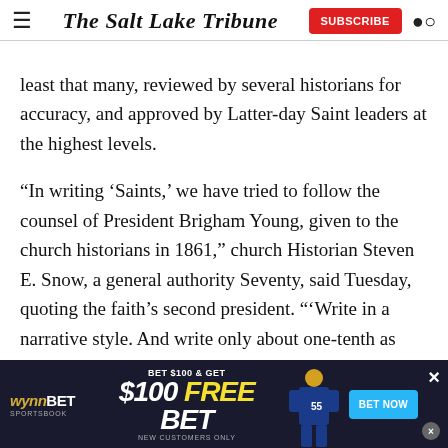The Salt Lake Tribune
least that many, reviewed by several historians for accuracy, and approved by Latter-day Saint leaders at the highest levels.
“In writing ‘Saints,’ we have tried to follow the counsel of President Brigham Young, given to the church historians in 1861,” church Historian Steven E. Snow, a general authority Seventy, said Tuesday, quoting the faith’s second president. “‘Write in a narrative style. And write only about one-tenth as much.’”
[Figure (other): WynnBet Sportsbook advertisement banner: BET $100 & GET $100 FREE BET, NEW CUSTOMERS ONLY, BET NOW button, football player image]